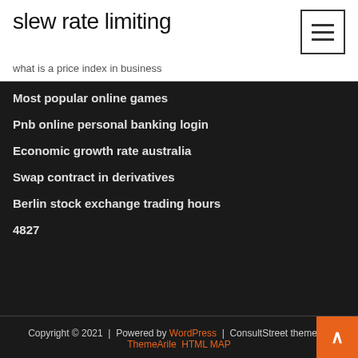slew rate limiting
what is a price index in business
Most popular online games
Pnb online personal banking login
Economic growth rate australia
Swap contract in derivatives
Berlin stock exchange trading hours
4827
Copyright © 2021 | Powered by WordPress | ConsultStreet theme by ThemeArile HTML MAP